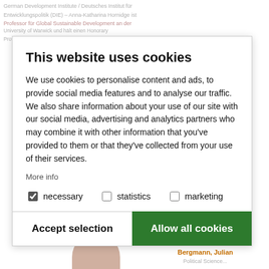German Development Institute / Deutsches Institut für Entwicklungspolitik (DIE) – Anna-Katharina Hornidge ist Professor für Global Sustainable Development an der University of Warwick und hält einen Honorary ...
This website uses cookies
We use cookies to personalise content and ads, to provide social media features and to analyse our traffic. We also share information about your use of our site with our social media, advertising and analytics partners who may combine it with other information that you've provided to them or that they've collected from your use of their services.
More info
necessary   statistics   marketing
Accept selection   Allow all cookies